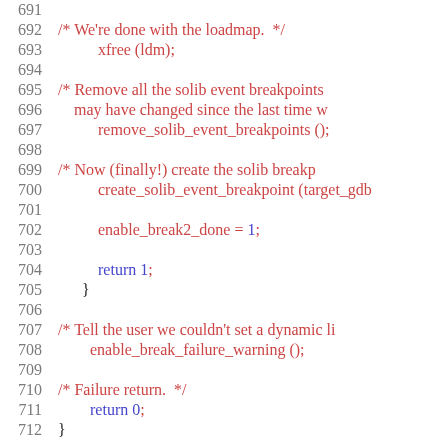Source code listing, lines 691-712, showing C code with line numbers, comments in red/dark-red, keywords in blue, and function calls.